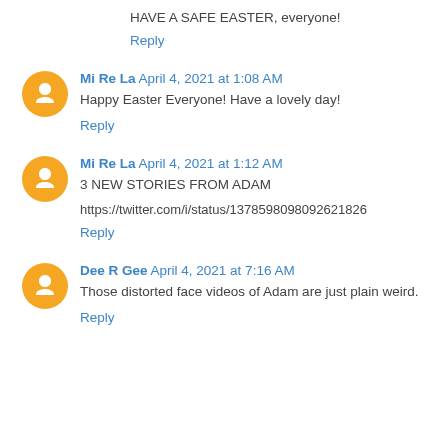HAVE A SAFE EASTER, everyone!
Reply
Mi Re La April 4, 2021 at 1:08 AM
Happy Easter Everyone! Have a lovely day!
Reply
Mi Re La April 4, 2021 at 1:12 AM
3 NEW STORIES FROM ADAM
https://twitter.com/i/status/1378598098092621826
Reply
Dee R Gee April 4, 2021 at 7:16 AM
Those distorted face videos of Adam are just plain weird.
Reply